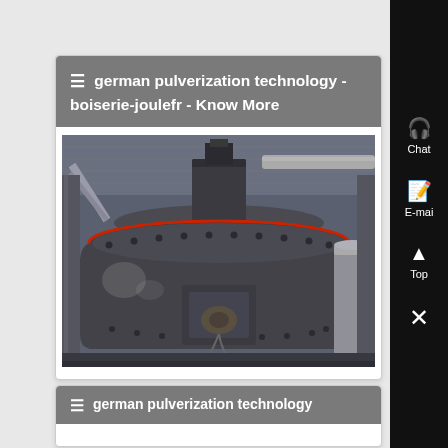☰ german pulverization technology - boiserie-joulefr - Know More
[Figure (photo): Industrial pulverization mill machine photographed from below inside a factory building, showing large cylindrical metal body with bolted flanges, red seam ring, ductwork and pipes above, steel structure in background]